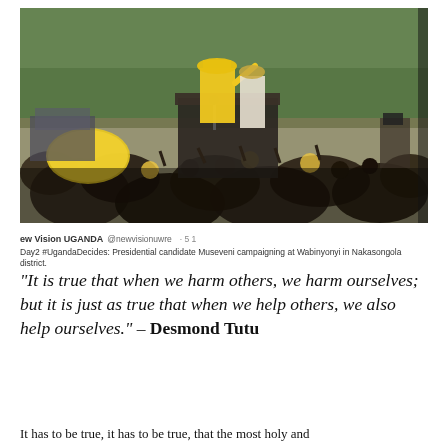[Figure (photo): Political campaign photo showing a man in a yellow outfit and yellow hat waving to a large crowd from a podium/truck, with a woman in white standing beside him. Dense crowd of people visible in the foreground. Green trees in the background.]
ew Vision UGANDA @newvisionuwre · 51
Day2 #UgandaDecides: Presidential candidate Museveni campaigning at Wabinyonyi in Nakasongola district.
“It is true that when we harm others, we harm ourselves; but it is just as true that when we help others, we also help ourselves.” – Desmond Tutu
It has to be true, it has to be true, that the most holy and